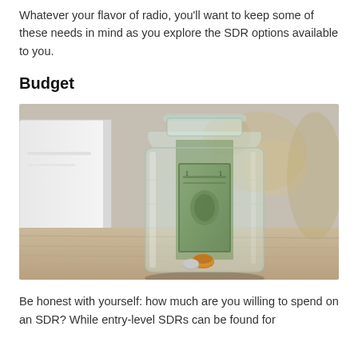Whatever your flavor of radio, you'll want to keep some of these needs in mind as you explore the SDR options available to you.
Budget
[Figure (photo): A glass mason jar containing folded paper money (dollar bills) and a few coins, sitting on a wooden surface with a blurred kitchen background. A white appliance is visible on the left side.]
Be honest with yourself: how much are you willing to spend on an SDR? While entry-level SDRs can be found for